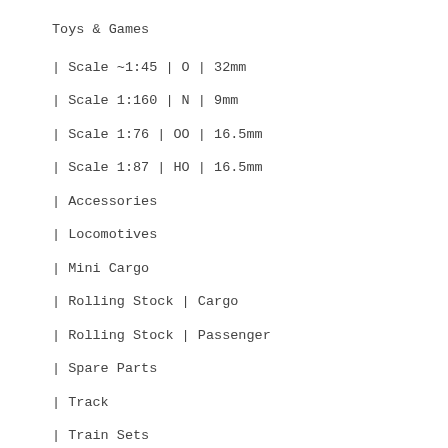Toys & Games
| Scale ~1:45 | O | 32mm
| Scale 1:160 | N | 9mm
| Scale 1:76 | OO | 16.5mm
| Scale 1:87 | HO | 16.5mm
| Accessories
| Locomotives
| Mini Cargo
| Rolling Stock | Cargo
| Rolling Stock | Passenger
| Spare Parts
| Track
| Train Sets
Free + Postage